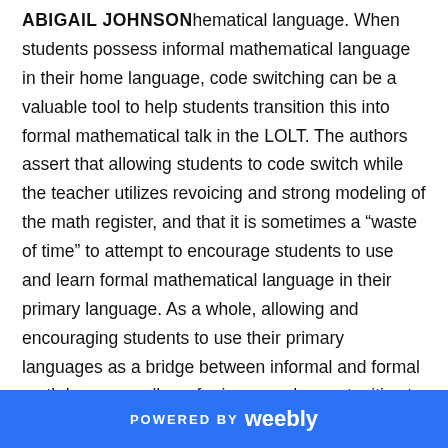ABIGAIL JOHNSON
hematical language. When students possess informal mathematical language in their home language, code switching can be a valuable tool to help students transition this into formal mathematical talk in the LOLT. The authors assert that allowing students to code switch while the teacher utilizes revoicing and strong modeling of the math register, and that it is sometimes a “waste of time” to attempt to encourage students to use and learn formal mathematical language in their primary language. As a whole, allowing and encouraging students to use their primary languages as a bridge between informal and formal math language allows for increased opportunities to use talk as a tool to build mathematical understanding.
POWERED BY weebly